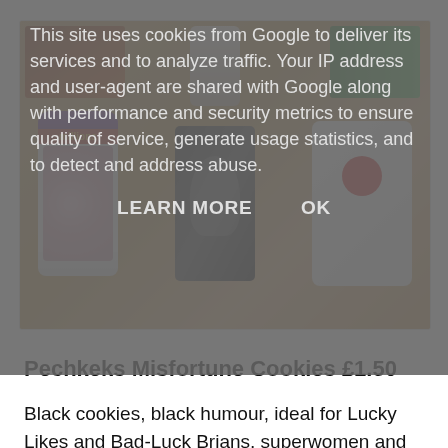This site uses cookies from Google to deliver its services and to analyze traffic. Your IP address and user-agent are shared with Google along with performance and security metrics to ensure quality of service, generate usage statistics, and to detect and address abuse.
LEARN MORE    OK
[Figure (photo): Photo of various snack and sweet items laid out on a wooden surface, including a Millions candy jar with purple lid, a black packet with a figure on it, a white packet with a red circular sticker, and several other food packages at the top.]
Pechkeks Misfortune Cookies £1.50
Black cookies, black humour, ideal for Lucky Likes and Bad-Luck Brians, superwomen and high-flyers, crybabies and